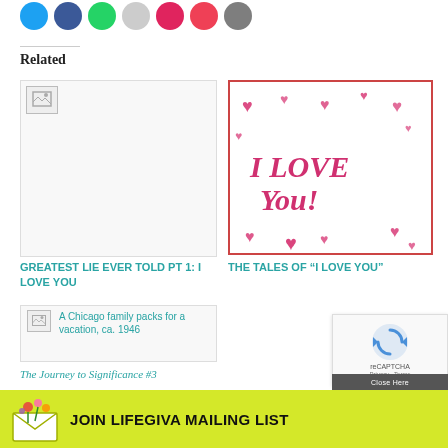[Figure (illustration): Row of colored social sharing icon circles: Twitter (blue), Facebook (dark blue), WhatsApp (green), Pinterest (gray), Email/heart (red), Pocket (pink-red), More (gray)]
Related
[Figure (photo): Broken image placeholder icon — article thumbnail for GREATEST LIE EVER TOLD pt 1: I LOVE YOU]
GREATEST LIE EVER TOLD pt 1: I LOVE YOU
[Figure (illustration): Hand-drawn style image with 'I LOVE You!' text in pink/magenta with drawn hearts around it]
THE TALES OF “I LOVE YOU”
[Figure (photo): Broken image placeholder with alt text: A Chicago family packs for a vacation, ca. 1946]
A Chicago family packs for a vacation, ca. 1946
The Journey to Significance #3
[Figure (other): reCAPTCHA widget with spinning arrows logo and Privacy - Terms links, plus close/dark overlay bar]
[Figure (illustration): Yellow-green banner at bottom: envelope icon with flowers on left, bold text 'JOIN LIFEGIVA MAILING LIST']